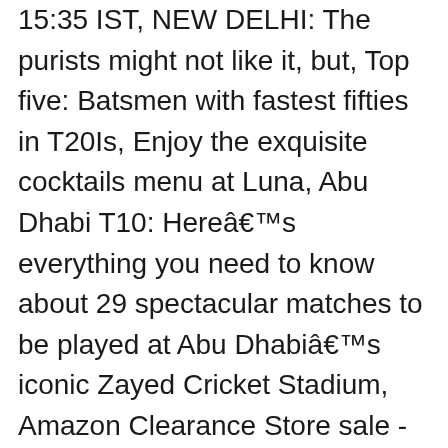15:35 IST, NEW DELHI: The purists might not like it, but, Top five: Batsmen with fastest fifties in T20Is, Enjoy the exquisite cocktails menu at Luna, Abu Dhabi T10: Hereâ€™s everything you need to know about 29 spectacular matches to be played at Abu Dhabiâ€™s iconic Zayed Cricket Stadium, Amazon Clearance Store sale - Upto 70% off, Ind vs Eng: Team India hones their skills ahead of 1st test in Chennai, Virat is captain, Iâ€™m vice-captain: Ajinkya Rahane on Kohliâ€™s return, Root is the key wicket India will be aiming for: Monty Panesar, Record-breaking India clinch Australia series in Gabba thriller, 4th Test in balance as rain halts Australia's victory push, 4th Test: Sundar, Thakur drag India back on Day 3. SPORTS. Pakistan's all-